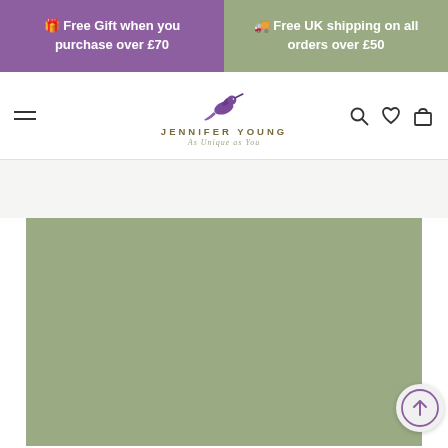🎁 Free Gift when you purchase over £70
🚚 Free UK shipping on all orders over £50
[Figure (logo): Jennifer Young logo with hummingbird above the text JENNIFER YOUNG and tagline As Unique as You]
[Figure (photo): Large greyed-out product image placeholder in sage green/grey color]